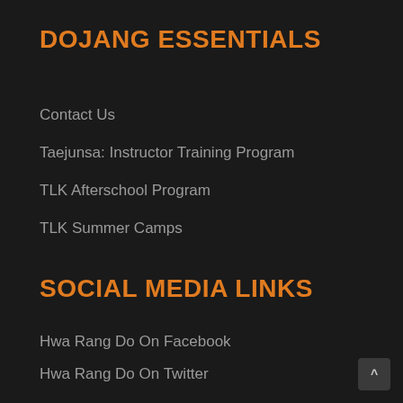DOJANG ESSENTIALS
Contact Us
Taejunsa: Instructor Training Program
TLK Afterschool Program
TLK Summer Camps
SOCIAL MEDIA LINKS
Hwa Rang Do On Facebook
Hwa Rang Do On Twitter
TLK On Facebook
TLK On Twitter